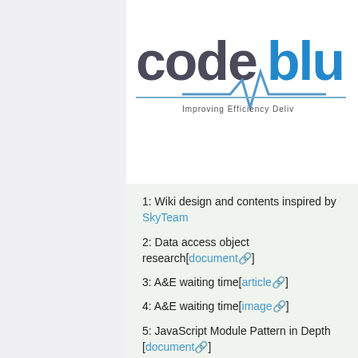[Figure (logo): CodeBlue logo with heartbeat line and text 'Improving Efficiency Deliv...']
| Home | The Team | Project Overview | Project Management | P Docu... |
| --- | --- | --- | --- | --- |
1: Wiki design and contents inspired by SkyTeam
2: Data access object research[document]
3: A&E waiting time[article]
4: A&E waiting time[image]
5: JavaScript Module Pattern in Depth [document]